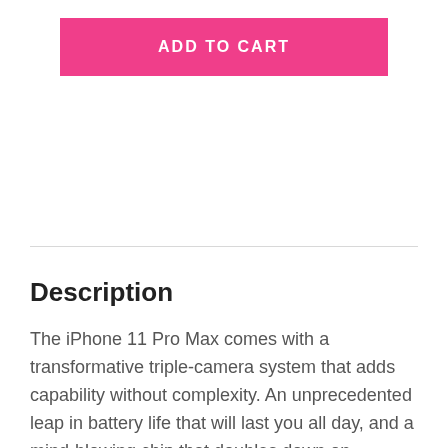ADD TO CART
Description
The iPhone 11 Pro Max comes with a transformative triple-camera system that adds capability without complexity. An unprecedented leap in battery life that will last you all day, and a mind-blowing chip that doubles down on machine learning and pushes the boundaries of what a smartphone can do!  iPhone 11 Pro Max lets you capture videos that